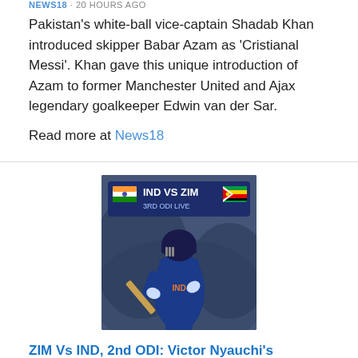NEWS18 · 20 HOURS AGO
Pakistan's white-ball vice-captain Shadab Khan introduced skipper Babar Azam as 'Cristianal Messi'. Khan gave this unique introduction of Azam to former Manchester United and Ajax legendary goalkeeper Edwin van der Sar.
Read more at News18
[Figure (photo): Cricket match image showing India vs Zimbabwe 3rd ODI Live graphic overlay with a batsman in blue India jersey playing a shot]
ZIM Vs IND, 2nd ODI: Victor Nyauchi's Unwanted Record; How Many Zimbabweans Have Got Out Without Facing A Ball India national cricket team - One Day International -